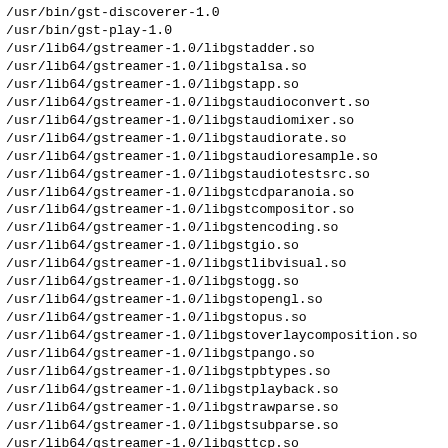/usr/bin/gst-discoverer-1.0
/usr/bin/gst-play-1.0
/usr/lib64/gstreamer-1.0/libgstadder.so
/usr/lib64/gstreamer-1.0/libgstalsa.so
/usr/lib64/gstreamer-1.0/libgstapp.so
/usr/lib64/gstreamer-1.0/libgstaudioconvert.so
/usr/lib64/gstreamer-1.0/libgstaudiomixer.so
/usr/lib64/gstreamer-1.0/libgstaudiorate.so
/usr/lib64/gstreamer-1.0/libgstaudioresample.so
/usr/lib64/gstreamer-1.0/libgstaudiotestsrc.so
/usr/lib64/gstreamer-1.0/libgstcdparanoia.so
/usr/lib64/gstreamer-1.0/libgstcompositor.so
/usr/lib64/gstreamer-1.0/libgstencoding.so
/usr/lib64/gstreamer-1.0/libgstgio.so
/usr/lib64/gstreamer-1.0/libgstlibvisual.so
/usr/lib64/gstreamer-1.0/libgstogg.so
/usr/lib64/gstreamer-1.0/libgstopengl.so
/usr/lib64/gstreamer-1.0/libgstopus.so
/usr/lib64/gstreamer-1.0/libgstoverlaycomposition.so
/usr/lib64/gstreamer-1.0/libgstpango.so
/usr/lib64/gstreamer-1.0/libgstpbtypes.so
/usr/lib64/gstreamer-1.0/libgstplayback.so
/usr/lib64/gstreamer-1.0/libgstrawparse.so
/usr/lib64/gstreamer-1.0/libgstsubparse.so
/usr/lib64/gstreamer-1.0/libgsttcp.so
/usr/lib64/gstreamer-1.0/libgsttheora.so
/usr/lib64/gstreamer-1.0/libgsttypefindfunctions.so
/usr/lib64/gstreamer-1.0/libgstvideoconvert.so
/usr/lib64/gstreamer-1.0/libgstvideorate.so
/usr/lib64/gstreamer-1.0/libgstvideoscale.so
/usr/lib64/gstreamer-1.0/libgstvideotestsrc.so